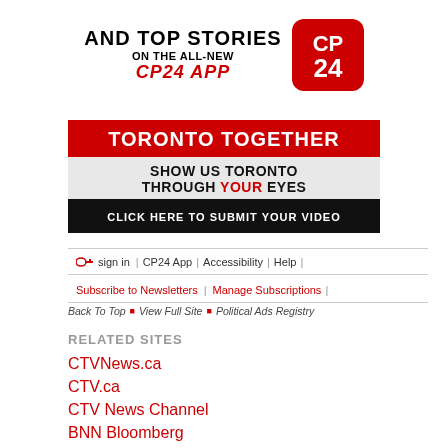[Figure (logo): CP24 App advertisement banner showing 'AND TOP STORIES ON THE ALL-NEW CP24 APP' text with CP24 logo]
[Figure (infographic): Toronto Together promotional banner: red bar with 'TORONTO TOGETHER', gray bar with 'SHOW US TORONTO THROUGH YOUR EYES', black bar with 'CLICK HERE TO SUBMIT YOUR VIDEO']
🔑  sign in  |  CP24 App  |  Accessibility  |  Help  |
Subscribe to Newsletters  |  Manage Subscriptions  |
Back To Top  ■  View Full Site  ■  Political Ads Registry
RELATED SITES
CTVNews.ca
CTV.ca
CTV News Channel
BNN Bloomberg